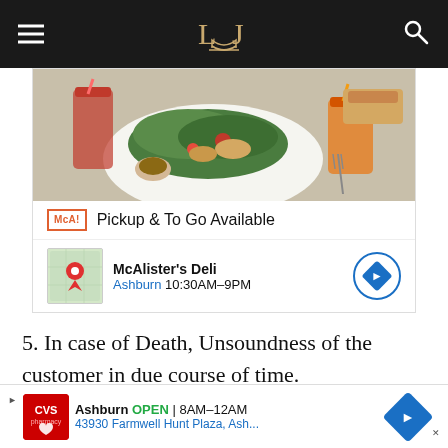LIJ (logo with navigation)
[Figure (screenshot): McAlister's Deli advertisement showing food photo, pickup text, and location info]
5. In case of Death, Unsoundness of the customer in due course of time.
6. If the customer is unable to repay the loans and becomes a proclaimed offender.
[Figure (screenshot): CVS Pharmacy advertisement showing Ashburn location, open hours 8AM-12AM, address 43930 Farmwell Hunt Plaza, Ash...]